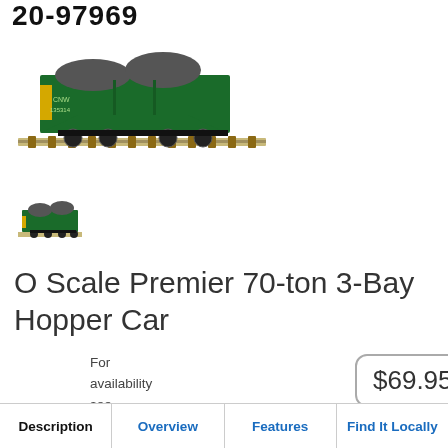20-97969
[Figure (photo): Main product photo of a green O Scale Premier 70-ton 3-Bay Hopper Car model train on track, labeled CNW 135314]
[Figure (photo): Thumbnail view of the same green hopper car model from a different angle]
O Scale Premier 70-ton 3-Bay Hopper Car
For availability see 'Find it locally' tab
Add to Wishlist
$69.95
| Description | Overview | Features | Find It Locally |
| --- | --- | --- | --- |